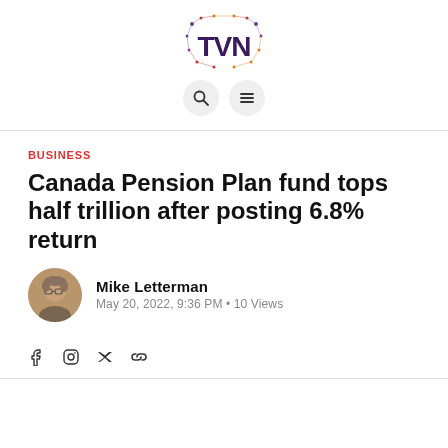[Figure (logo): TVN logo with colorful network/circuit node design around bold TVN letters in dark purple/red and orange gradient]
[Figure (infographic): Two circular navigation buttons: a search (magnifying glass) icon and a hamburger menu icon, both on light gray circular backgrounds]
BUSINESS
Canada Pension Plan fund tops half trillion after posting 6.8% return
[Figure (photo): Circular headshot photo of Mike Letterman, a middle-aged man with glasses]
Mike Letterman
May 20, 2022, 9:36 PM • 10 Views
[Figure (infographic): Social media icons row: Facebook, Instagram, Twitter, and link/chain icon]